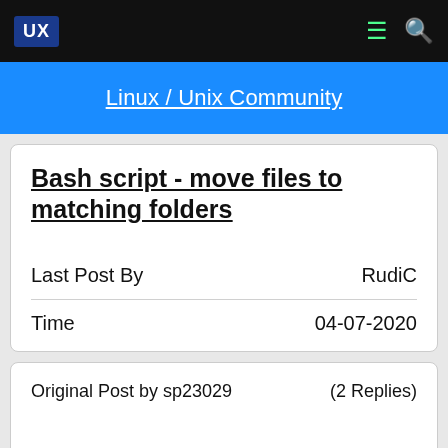UX | Linux / Unix Community
Bash script - move files to matching folders
Last Post By    RudiC
Time    04-07-2020
Original Post by sp23029    (2 Replies)